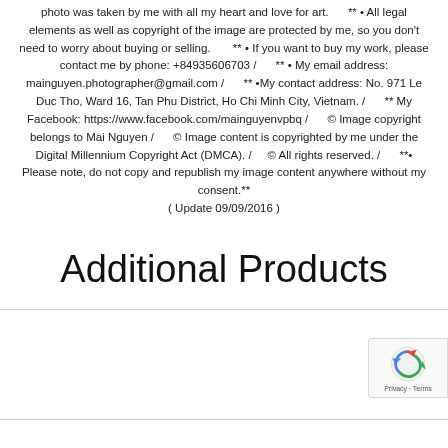photo was taken by me with all my heart and love for art. ** • All legal elements as well as copyright of the image are protected by me, so you don't need to worry about buying or selling. ** • If you want to buy my work, please contact me by phone: +84935606703 / ** • My email address: mainguyen.photographer@gmail.com / ** •My contact address: No. 971 Le Duc Tho, Ward 16, Tan Phu District, Ho Chi Minh City, Vietnam. / ** My Facebook: https://www.facebook.com/mainguyenvpbq / © Image copyright belongs to Mai Nguyen / © Image content is copyrighted by me under the Digital Millennium Copyright Act (DMCA). / © All rights reserved. / **• Please note, do not copy and republish my image content anywhere without my consent.** ( Update 09/09/2016 )
Additional Products